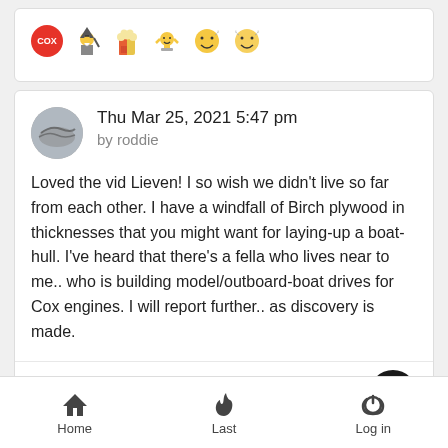[Figure (other): Row of emoji/sticker icons: Cox logo, wizard character, popcorn character, trophy character, two smiley face emoji]
Loved the vid Lieven! I so wish we didn't live so far from each other. I have a windfall of Birch plywood in thicknesses that you might want for laying-up a boat-hull. I've heard that there's a fella who lives near to me.. who is building model/outboard-boat drives for Cox engines. I will report further.. as discovery is made.
Home  Last  Log in